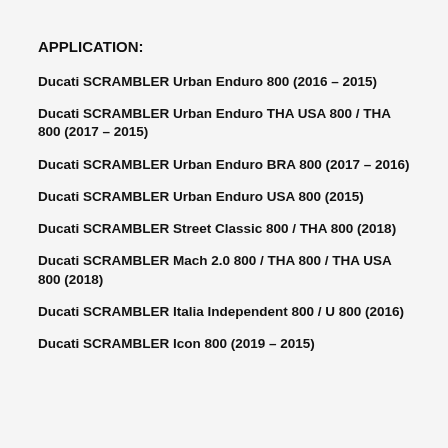APPLICATION:
Ducati SCRAMBLER Urban Enduro 800 (2016 – 2015)
Ducati SCRAMBLER Urban Enduro THA USA 800 / THA 800 (2017 – 2015)
Ducati SCRAMBLER Urban Enduro BRA 800 (2017 – 2016)
Ducati SCRAMBLER Urban Enduro USA 800 (2015)
Ducati SCRAMBLER Street Classic 800 / THA 800 (2018)
Ducati SCRAMBLER Mach 2.0 800 / THA 800 / THA USA 800 (2018)
Ducati SCRAMBLER Italia Independent 800 / U 800 (2016)
Ducati SCRAMBLER Icon 800 (2019 – 2015)